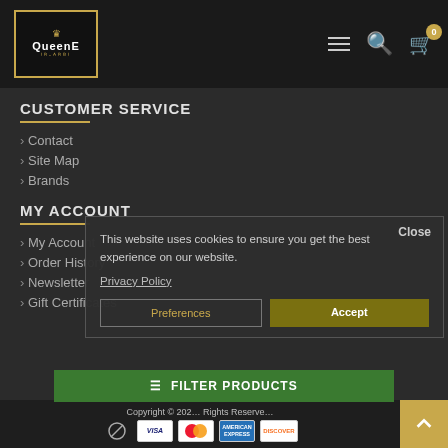QueenE logo, navigation menu, search, cart (0)
CUSTOMER SERVICE
> Contact
> Site Map
> Brands
MY ACCOUNT
> My Account
> Order History
> Newsletter
> Gift Certificates
Close
This website uses cookies to ensure you get the best experience on our website.
Privacy Policy
Preferences   Accept
FILTER PRODUCTS
Copyright © 202… Rights Reserved. Payment icons: No-sign, VISA, Mastercard, American Express, Discover